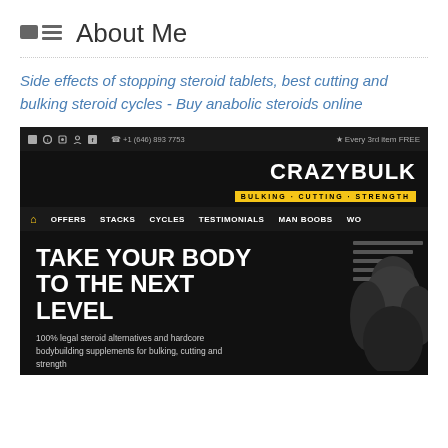About Me
Side effects of stopping steroid tablets, best cutting and bulking steroid cycles - Buy anabolic steroids online
[Figure (screenshot): Screenshot of CrazyBulk website showing 'TAKE YOUR BODY TO THE NEXT LEVEL' hero banner with navigation menu including OFFERS, STACKS, CYCLES, TESTIMONIALS, MAN BOOBS, and BULKING · CUTTING · STRENGTH tagline. Shows 100% legal steroid alternatives and hardcore bodybuilding supplements for bulking, cutting and strength.]